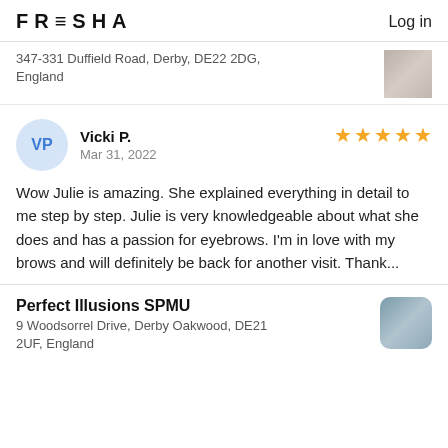FRESHA   Log in
347-331 Duffield Road, Derby, DE22 2DG, England
Vicki P.
Mar 31, 2022
★★★★★
Wow Julie is amazing. She explained everything in detail to me step by step. Julie is very knowledgeable about what she does and has a passion for eyebrows. I'm in love with my brows and will definitely be back for another visit. Thank...
Perfect Illusions SPMU
9 Woodsorrel Drive, Derby Oakwood, DE21 2UF, England